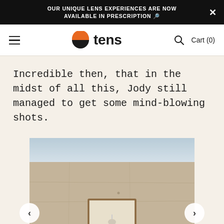OUR UNIQUE LENS EXPERIENCES ARE NOW AVAILABLE IN PRESCRIPTION 🔎
[Figure (logo): Tens sunglasses brand logo: orange and dark circle icon next to bold text 'tens', with hamburger menu, search icon, and Cart (0) on nav bar]
Incredible then, that in the midst of all this, Jody still managed to get some mind-blowing shots.
[Figure (photo): Photograph of a large stone/concrete wall with a framed picture or mirror embedded near the bottom center, sky visible at the top]